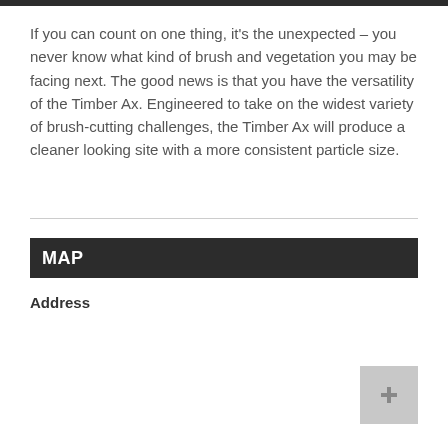If you can count on one thing, it's the unexpected – you never know what kind of brush and vegetation you may be facing next. The good news is that you have the versatility of the Timber Ax. Engineered to take on the widest variety of brush-cutting challenges, the Timber Ax will produce a cleaner looking site with a more consistent particle size.
MAP
Address
[Figure (other): Address input field with Get Driving Directions button and a small square icon button]